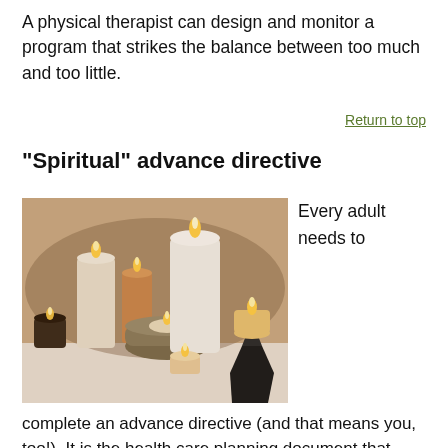A physical therapist can design and monitor a program that strikes the balance between too much and too little.
Return to top
"Spiritual" advance directive
[Figure (photo): Photo of several lit candles of various sizes and colors arranged on a white surface, including pillar candles, a floating candle in a decorative metal bowl, and candles in small holders.]
Every adult needs to
complete an advance directive (and that means you, too!). It is the health care planning document that medical professionals follow if a patient becomes too ill to speak